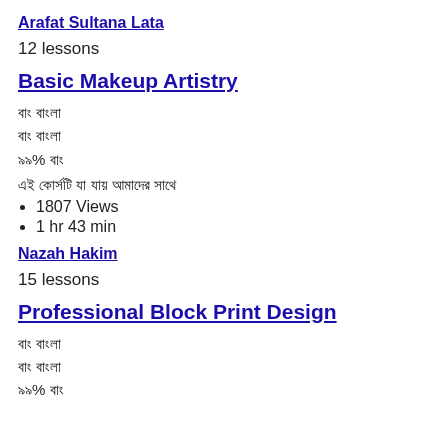Arafat Sultana Lata
12 lessons
Basic Makeup Artistry
বাং বাংলা
বাং বাংলা
৯৯% বাং
এই কোর্সটি যা যায় আমাদের সাথে
1807 Views
1 hr 43 min
Nazah Hakim
15 lessons
Professional Block Print Design
বাং বাংলা
বাং বাংলা
৯৯% বাং